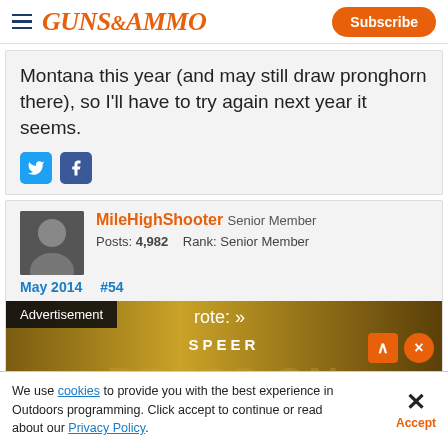Guns & Ammo — Subscribe
Montana this year (and may still draw pronghorn there), so I'll have to try again next year it seems.
MileHighShooter Senior Member Posts: 4,982  Rank: Senior Member
May 2014  #54
[Figure (infographic): Advertisement overlay showing Speer brand ad with close and expand buttons]
We use cookies to provide you with the best experience in Outdoors programming. Click accept to continue or read about our Privacy Policy.